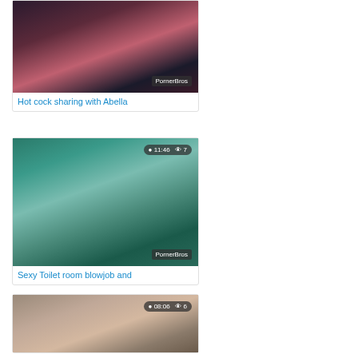[Figure (photo): Video thumbnail for 'Hot cock sharing with Abella' with PornerBros watermark]
Hot cock sharing with Abella
[Figure (photo): Video thumbnail for 'Sexy Toilet room blowjob and' with duration 11:46, views 7, PornerBros watermark]
Sexy Toilet room blowjob and
[Figure (photo): Video thumbnail with duration 08:06, views 6, showing a young male]